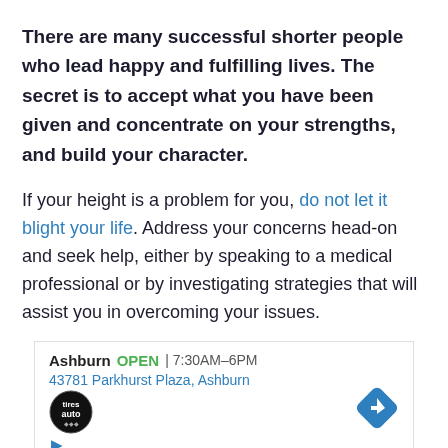There are many successful shorter people who lead happy and fulfilling lives. The secret is to accept what you have been given and concentrate on your strengths, and build your character.
If your height is a problem for you, do not let it blight your life. Address your concerns head-on and seek help, either by speaking to a medical professional or by investigating strategies that will assist you in overcoming your issues.
[Figure (other): Advertisement box showing Ashburn location of Tires Plus / Tires Auto store. Shows OPEN status, hours 7:30AM-6PM, address 43781 Parkhurst Plaza, Ashburn, store logo, and navigation icon.]